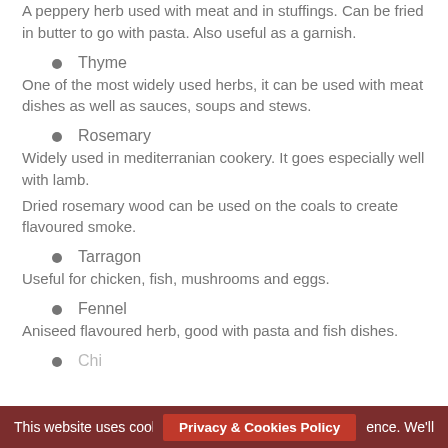A peppery herb used with meat and in stuffings. Can be fried in butter to go with pasta. Also useful as a garnish.
Thyme
One of the most widely used herbs, it can be used with meat dishes as well as sauces, soups and stews.
Rosemary
Widely used in mediterranian cookery. It goes especially well with lamb.
Dried rosemary wood can be used on the coals to create flavoured smoke.
Tarragon
Useful for chicken, fish, mushrooms and eggs.
Fennel
Aniseed flavoured herb, good with pasta and fish dishes.
Chi...
This website uses cookie... Privacy & Cookies Policy ...ence. We'll